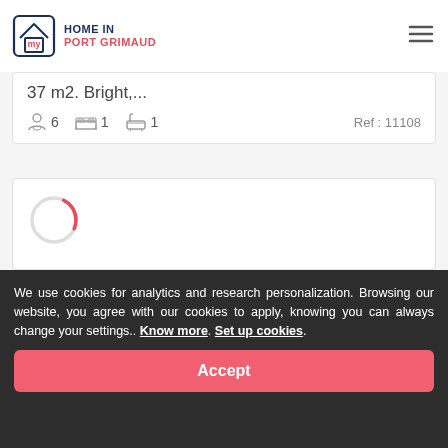my HOME IN PORT GRIMAUD
37 m2. Bright,...
6  1  1  Ref : 11108
[Figure (other): Loading spinner (circular loading indicator, partial red arc on grey circle)]
We use cookies for analytics and research personalization. Browsing our website, you agree with our cookies to apply, knowing you can always change your settings.. Know more. Set up cookies.
Accept